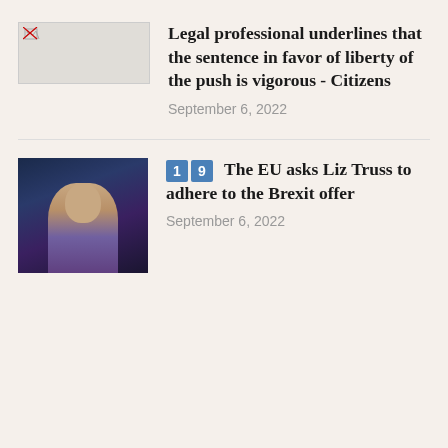[Figure (photo): Broken/placeholder image thumbnail for first news article]
Legal professional underlines that the sentence in favor of liberty of the push is vigorous - Citizens
September 6, 2022
[Figure (photo): Photo of Liz Truss speaking at an event, wearing purple, against a dark blue background]
1 9 The EU asks Liz Truss to adhere to the Brexit offer
September 6, 2022